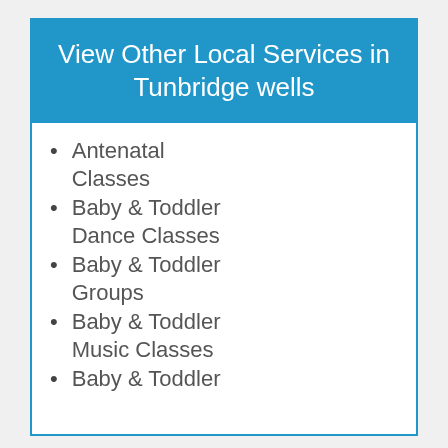View Other Local Services in Tunbridge wells
Antenatal Classes
Baby & Toddler Dance Classes
Baby & Toddler Groups
Baby & Toddler Music Classes
Baby & Toddler